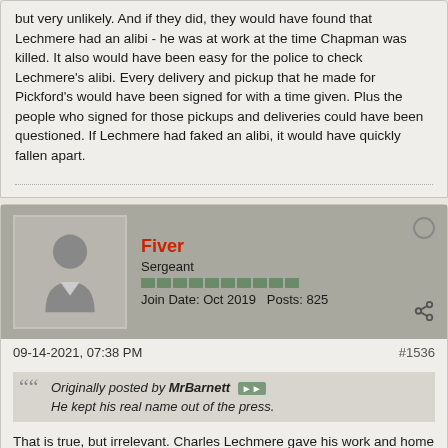but very unlikely. And if they did, they would have found that Lechmere had an alibi - he was at work at the time Chapman was killed. It also would have been easy for the police to check Lechmere's alibi. Every delivery and pickup that he made for Pickford's would have been signed for with a time given. Plus the people who signed for those pickups and deliveries could have been questioned. If Lechmere had faked an alibi, it would have quickly fallen apart.
Fiver
Sergeant
Join Date: Oct 2019  Posts: 825
09-14-2021, 07:38 PM
#1536
Originally posted by MrBarnett
He kept his real name out of the press.
That is true, but irrelevant. Charles Lechmere gave his work and home addresses, so he was not trying to hide his identity from the police, his employers, his co-workers, his neighbors, or his family.